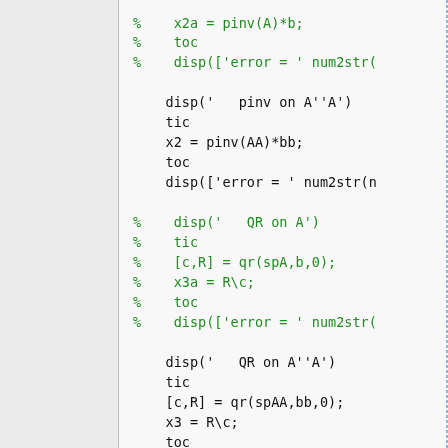[Figure (screenshot): MATLAB code snippet showing commented-out and active code blocks for solving least-squares problems using pinv, QR decomposition, and Cholesky factorization on matrices A and A'*A.]